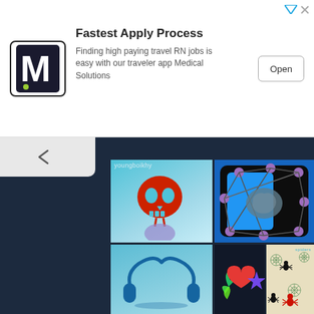[Figure (screenshot): App store advertisement banner for Medical Solutions showing 'Fastest Apply Process' for travel RN jobs, with an M logo, subtitle text, and Open button]
[Figure (screenshot): Screenshot of a mobile app content grid showing: youngboikhy profile with skull illustration on cyan background, a network/graph diagram on blue background, headphones illustration on light blue background, heart and star sticker art, and a spiders illustration set on beige background]